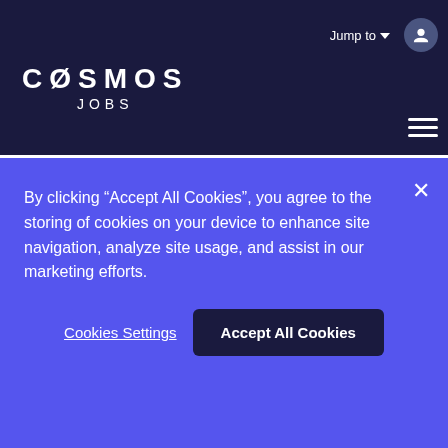[Figure (logo): Cosmos Jobs logo - white text on dark navy background with stylized C0SMOS lettering and JOBS below]
EVM-based blockchain in the Cosmos ecosystem. Our core thesis is built on a multi-home smart contract future. In order to realize this, we...
Location
Berlin, Germany; Remote
Posted
By clicking “Accept All Cookies”, you agree to the storing of cookies on your device to enhance site navigation, analyze site usage, and assist in our marketing efforts.
Cookies Settings
Accept All Cookies